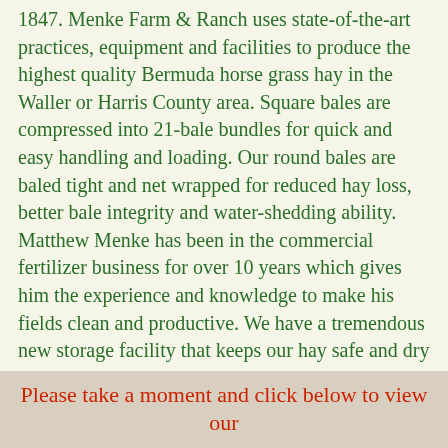1847.  Menke Farm & Ranch uses state-of-the-art practices, equipment and facilities to produce  the highest quality Bermuda horse grass hay in the Waller or Harris County area.  Square bales are compressed into 21-bale bundles for quick and easy handling and loading.  Our round bales are baled tight and net wrapped for reduced hay loss, better bale integrity and water-shedding ability.  Matthew Menke has been in the commercial fertilizer business for over 10 years which gives him the experience and knowledge to make his fields clean and productive.  We have a tremendous new storage facility that keeps our hay safe and dry during any weather condition.  We are able to load trucks, trailers and even 18-wheelers with premium Bermuda grass hay in a matter of minutes with our 21-bale bundles. For superior quality hay and outstanding customer service, come join our family of satisfied customers!  We are located in Hempstead, Texas on FM 359 about 3.5 miles South of the Waller County Fair Grounds.  You can't miss our barn.
Please take a moment and click below to view our